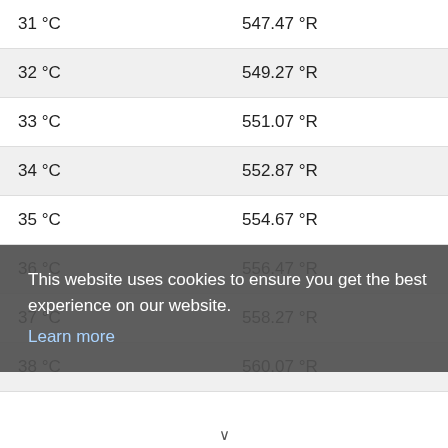| 31 °C | 547.47 °R |
| 32 °C | 549.27 °R |
| 33 °C | 551.07 °R |
| 34 °C | 552.87 °R |
| 35 °C | 554.67 °R |
| 36 °C | 556.47 °R |
| 37 °C | 558.27 °R |
| 38 °C | 560.07 °R |